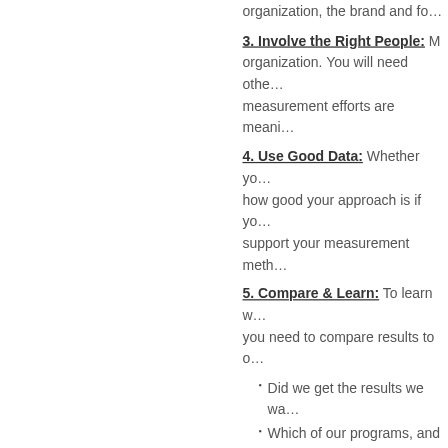organization, the brand and fo…
3. Involve the Right People: M… organization. You will need othe… measurement efforts are meani…
4. Use Good Data: Whether yo… how good your approach is if yo… support your measurement meth…
5. Compare & Learn: To learn w… you need to compare results to o…
Did we get the results we wa…
Which of our programs, and i… delivering the results we nee…
When I handed my note to the te… engage in any further communi… allocate your marketing budget,… personal performance goals and…
To worry less and to improve yo… marketing. It will give you bette… improve and the business res…